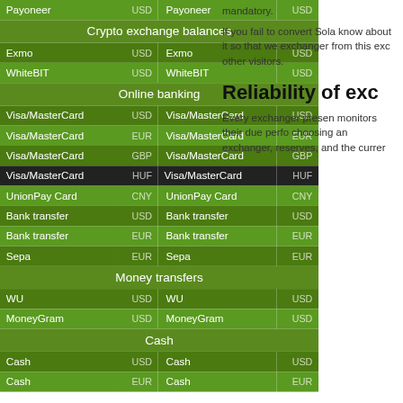| Method | Currency | Method | Currency |
| --- | --- | --- | --- |
| Payoneer | USD | Payoneer | USD |
| Crypto exchange balances |  |  |  |
| Exmo | USD | Exmo | USD |
| WhiteBIT | USD | WhiteBIT | USD |
| Online banking |  |  |  |
| Visa/MasterCard | USD | Visa/MasterCard | USD |
| Visa/MasterCard | EUR | Visa/MasterCard | EUR |
| Visa/MasterCard | GBP | Visa/MasterCard | GBP |
| Visa/MasterCard | HUF | Visa/MasterCard | HUF |
| UnionPay Card | CNY | UnionPay Card | CNY |
| Bank transfer | USD | Bank transfer | USD |
| Bank transfer | EUR | Bank transfer | EUR |
| Sepa | EUR | Sepa | EUR |
| Money transfers |  |  |  |
| WU | USD | WU | USD |
| MoneyGram | USD | MoneyGram | USD |
| Cash |  |  |  |
| Cash | USD | Cash | USD |
| Cash | EUR | Cash | EUR |
mandatory.
If you fail to convert Sola- know about it so that we exchanger from this exc other visitors.
Reliability of exc
Every exchanger preset monitors their due perf choosing an exchanger, reserves, and the currer